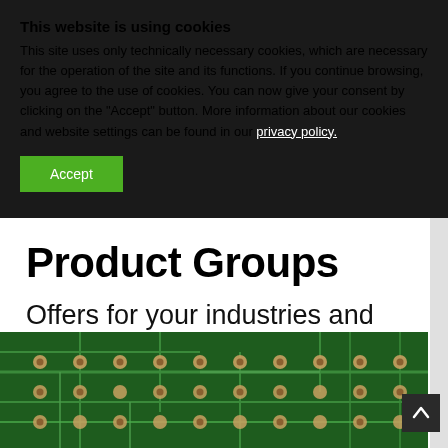This website is using cookies
This site uses only technically necessary cookies, which are necessary for the operation of the site and its functions. If you continue browsing, you agree to the use of cookies. You can now give your consent by clicking on the "Accept" button. More information about our cookies and website settings can be found in our privacy policy.
Accept
Product Groups
Offers for your industries and markets
[Figure (photo): Close-up photograph of a green printed circuit board with solder points and electronic components]